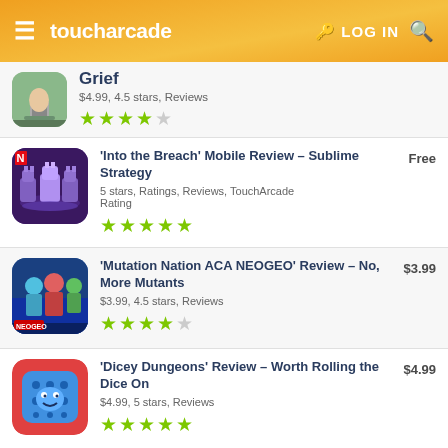toucharcade  LOG IN
Grief — $4.99, 4.5 stars, Reviews
'Into the Breach' Mobile Review – Sublime Strategy — Free — 5 stars, Ratings, Reviews, TouchArcade Rating
'Mutation Nation ACA NEOGEO' Review – No, More Mutants — $3.99 — $3.99, 4.5 stars, Reviews
'Dicey Dungeons' Review – Worth Rolling the Dice On — $4.99 — $4.99, 5 stars, Reviews
'HOOK 2' Review – A Sharp Left Hook From Out of Nowhere — $1.99 — $1.99, 4.5 stars, Reviews